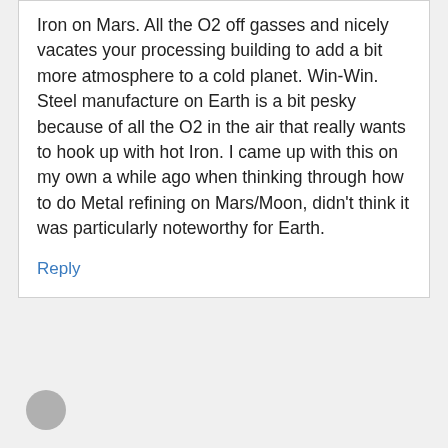Iron on Mars. All the O2 off gasses and nicely vacates your processing building to add a bit more atmosphere to a cold planet. Win-Win. Steel manufacture on Earth is a bit pesky because of all the O2 in the air that really wants to hook up with hot Iron. I came up with this on my own a while ago when thinking through how to do Metal refining on Mars/Moon, didn't think it was particularly noteworthy for Earth.
Reply